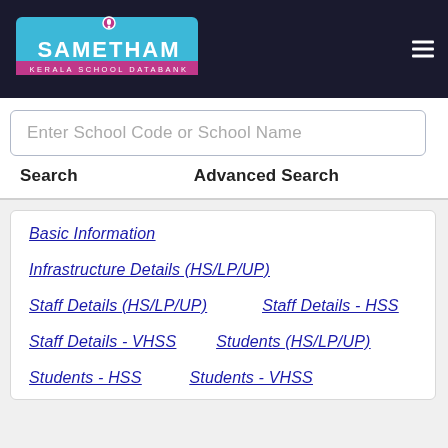[Figure (logo): SAMETHAM Kerala School Databank logo with blue/pink branding and hamburger menu icon]
Enter School Code or School Name
Search    Advanced Search
Basic Information
Infrastructure Details (HS/LP/UP)
Staff Details (HS/LP/UP)    Staff Details - HSS
Staff Details - VHSS    Students (HS/LP/UP)
Students - HSS    Students - VHSS